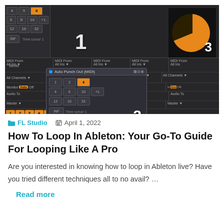[Figure (screenshot): Ableton Live DAW interface screenshot showing MIDI channel strips, a MIDI auto punch out popup dialog, and an orange pie/donut chart graphic. Numbers 1, 2, and 3 are overlaid on different sections of the interface.]
FL Studio  April 1, 2022
How To Loop In Ableton: Your Go-To Guide For Looping Like A Pro
Are you interested in knowing how to loop in Ableton live? Have you tried different techniques all to no avail? …
Read more